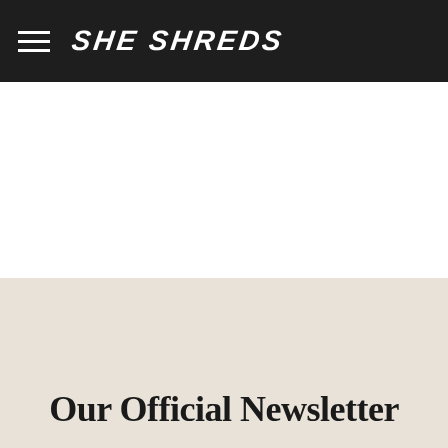SHE SHREDS
Our Official Newsletter